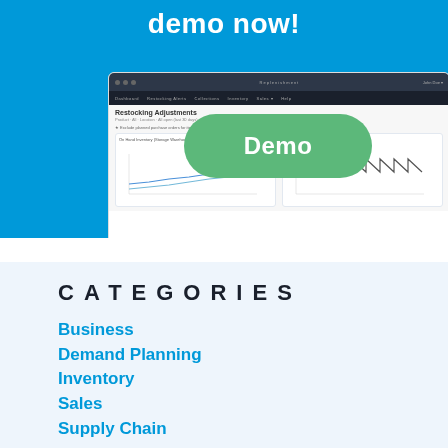demo now!
[Figure (screenshot): Screenshot of a software dashboard showing Restocking Adjustments page with inventory charts, overlaid with a green 'Demo' button]
CATEGORIES
Business
Demand Planning
Inventory
Sales
Supply Chain